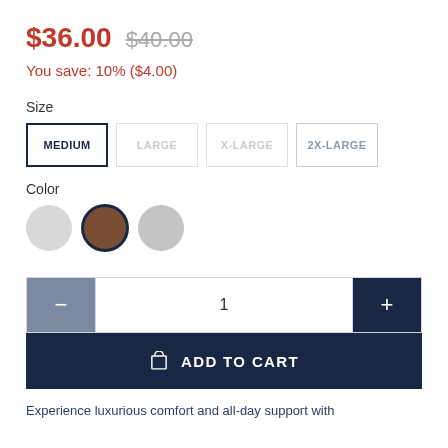$36.00  $40.00
You save: 10% ($4.00)
Size
MEDIUM  LARGE  X-LARGE  2X-LARGE
Color
[Figure (other): Three color swatches: light gray circle, brown circle (selected with border), mid gray circle]
1
ADD TO CART
Experience luxurious comfort and all-day support with